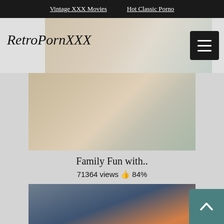Vintage XXX Movies   Hot Classic Porno
RetroPornXXX
[Figure (photo): Blurred/obscured video thumbnail in header area]
[Figure (photo): Video thumbnail for 'Family Fun with..']
Family Fun with..
71364 views 👍 84%
[Figure (photo): Second video thumbnail showing two people]